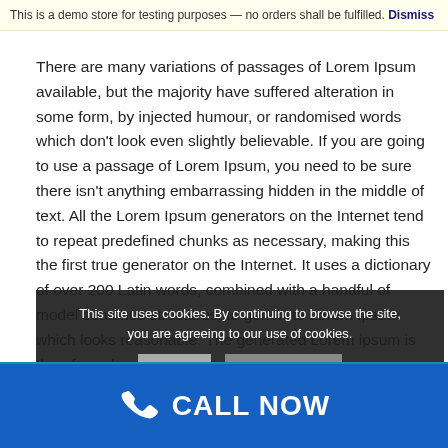through the cites of the word in classical literature
This is a demo store for testing purposes — no orders shall be fulfilled. Dismiss
There are many variations of passages of Lorem Ipsum available, but the majority have suffered alteration in some form, by injected humour, or randomised words which don't look even slightly believable. If you are going to use a passage of Lorem Ipsum, you need to be sure there isn't anything embarrassing hidden in the middle of text. All the Lorem Ipsum generators on the Internet tend to repeat predefined chunks as necessary, making this the first true generator on the Internet. It uses a dictionary of over 200 Latin words, combined with a handful of model sentence structures, to generate Lorem Ipsum which looks reasonable. The generated Lorem ipsum is therefore always free from...
This site uses cookies. By continuing to browse the site, you are agreeing to our use of cookies.
CALL NOW